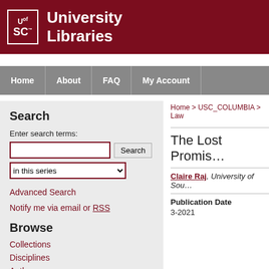University Libraries
Home | About | FAQ | My Account
Search
Enter search terms:
in this series
Advanced Search
Notify me via email or RSS
Browse
Collections
Disciplines
Authors
Home > USC_COLUMBIA > Law
The Lost Promis…
Claire Raj, University of Sou…
Publication Date
3-2021